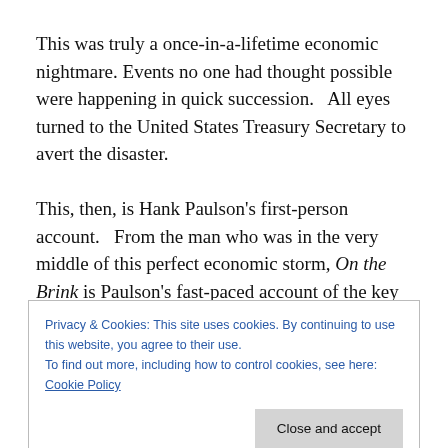This was truly a once-in-a-lifetime economic nightmare. Events no one had thought possible were happening in quick succession.   All eyes turned to the United States Treasury Secretary to avert the disaster.

This, then, is Hank Paulson's first-person account.   From the man who was in the very middle of this perfect economic storm, On the Brink is Paulson's fast-paced account of the key decisions that had to be made with lightning speed.   On the Brink is an extraordinary story
Privacy & Cookies: This site uses cookies. By continuing to use this website, you agree to their use.
To find out more, including how to control cookies, see here: Cookie Policy
Close and accept
anonymous, unsourced dish, it nonetheless offers plenty